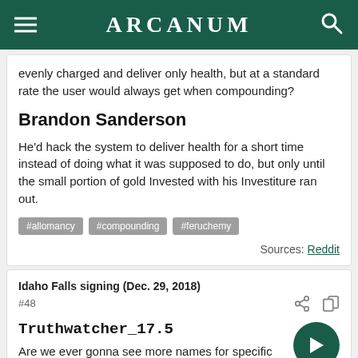ARCANUM
evenly charged and deliver only health, but at a standard rate the user would always get when compounding?
Brandon Sanderson
He'd hack the system to deliver health for a short time instead of doing what it was supposed to do, but only until the small portion of gold Invested with his Investiture ran out.
#allomancy
#compounding
#feruchemy
Sources: Reddit
Idaho Falls signing (Dec. 29, 2018)
#48
Truthwatcher_17.5
Are we ever gonna see more names for specific types of Twinborns?
Brandon Sanderson